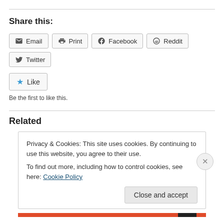Share this:
Email  Print  Facebook  Reddit  Twitter
Like
Be the first to like this.
Related
Privacy & Cookies: This site uses cookies. By continuing to use this website, you agree to their use.
To find out more, including how to control cookies, see here: Cookie Policy
Close and accept